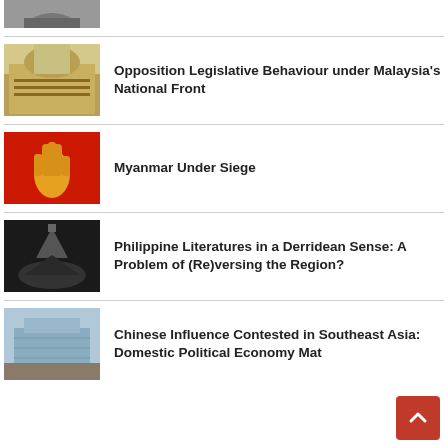[Figure (photo): Partial image at top, person in black and white photo, cropped]
Opposition Legislative Behaviour under Malaysia's National Front
[Figure (photo): Malaysian parliament interior with crowd]
Myanmar Under Siege
[Figure (photo): Red background with yellow hand symbol]
Philippine Literatures in a Derridean Sense: A Problem of (Re)versing the Region?
[Figure (photo): Industrial funnel/pile of black material]
Chinese Influence Contested in Southeast Asia: Domestic Political Economy Mat...
[Figure (photo): Dam or concrete structure with excavation]